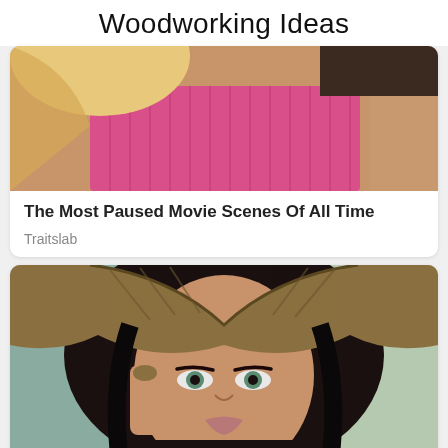Woodworking Ideas
[Figure (photo): Partial photo of a woman with pink/blonde hair wearing a pink ribbed top, cropped at torso level]
The Most Paused Movie Scenes Of All Time
Traitslab
[Figure (photo): Portrait photo of a woman with dark hair wearing a patterned headscarf, holding it with one hand, looking directly at camera with dramatic eye makeup]
10 Asian Actresses Of Irresistible Beauty